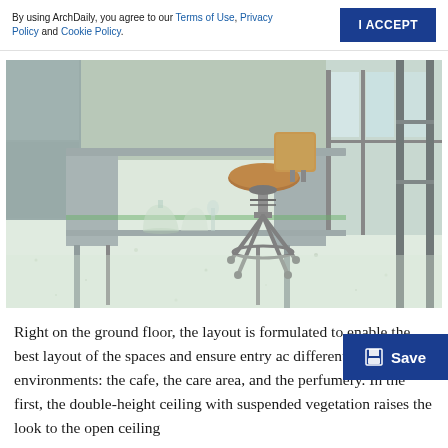By using ArchDaily, you agree to our Terms of Use, Privacy Policy and Cookie Policy.
[Figure (photo): Interior photo showing a metal lab-style workbench/desk with a lower shelf holding glass vessels, and an adjustable industrial stool with a wooden backrest and brown leather seat, on a terrazzo floor with large windows in the background showing an outdoor construction scene.]
Right on the ground floor, the layout is formulated to enable the best layout of the spaces and ensure entry ac different environments: the cafe, the care area, and the perfumery. In the first, the double-height ceiling with suspended vegetation raises the look to the open ceiling